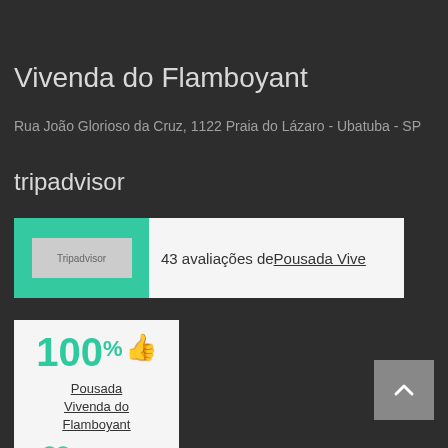Vivenda do Flamboyant
Rua João Glorioso da Cruz, 1122 Praia do Lázaro - Ubatuba - SP
tripadvisor
[Figure (screenshot): TripAdvisor widget showing 43 avaliações de Pousada Vive with green background and white panel]
[Figure (screenshot): Rating box showing 100% thumbs up, Pousada Vivenda do Flamboyant link, and Tripadvisor logo at bottom]
[Figure (other): Scroll-up navigation button (grey square with upward chevron arrow)]